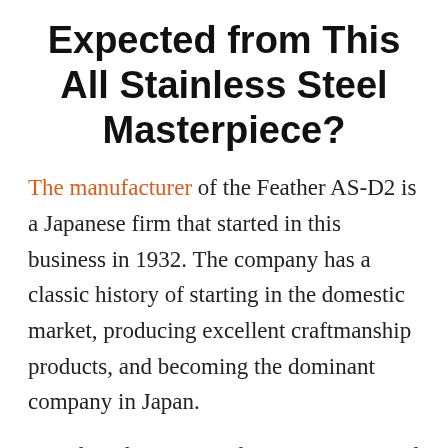Expected from This All Stainless Steel Masterpiece?
The manufacturer of the Feather AS-D2 is a Japanese firm that started in this business in 1932. The company has a classic history of starting in the domestic market, producing excellent craftmanship products, and becoming the dominant company in Japan.
Based on this success the company moved on to become a major player on the international scene. Their most recognized